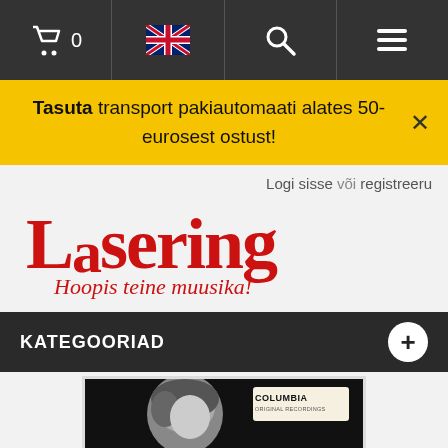[Figure (screenshot): Top navigation bar with cart icon showing 0, UK flag icon, search icon, and hamburger menu icon on dark background]
Tasuta transport pakiautomaati alates 50-eurosest ostust!
Logi sisse või registreeru
[Figure (logo): Lasering logo in red with tagline 'Hoopis teine muusika!' in red cursive]
KATEGOORIAD
[Figure (photo): Album cover showing a black and white photo of a woman with the Columbia Original Recordings logo and text 'THE REAL...']